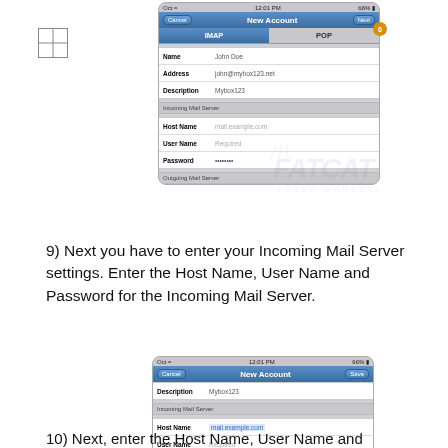[Figure (screenshot): iPhone New Account screen showing IMAP/POP tabs, Name: John Doe, Address: john@mybox123.net, Description: Mybox123, Incoming Mail Server section with Host Name (mail.example.com), User Name (Required), Password (bullets). Plus crosshair icon and badge overlay.]
9) Next you have to enter your Incoming Mail Server settings. Enter the Host Name, User Name and Password for the Incoming Mail Server.
[Figure (screenshot): iPhone New Account screen showing Description: Mybox123, Incoming Mail Server section with Host Name (mail.example.com highlighted in blue), User Name (Required), Password (bullets), and onscreen keyboard below.]
10) Next, enter the Host Name, User Name and